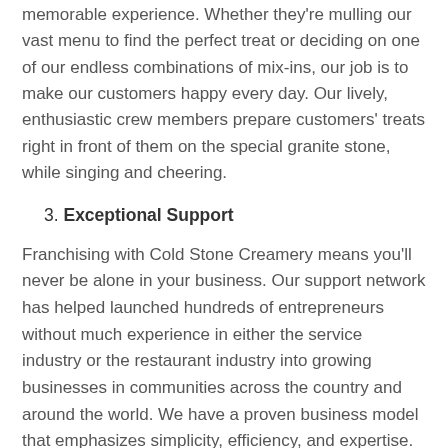memorable experience. Whether they're mulling our vast menu to find the perfect treat or deciding on one of our endless combinations of mix-ins, our job is to make our customers happy every day. Our lively, enthusiastic crew members prepare customers' treats right in front of them on the special granite stone, while singing and cheering.
3. Exceptional Support
Franchising with Cold Stone Creamery means you'll never be alone in your business. Our support network has helped launched hundreds of entrepreneurs without much experience in either the service industry or the restaurant industry into growing businesses in communities across the country and around the world. We have a proven business model that emphasizes simplicity, efficiency, and expertise. Additionally, we provide our franchise owners with extensive training and instruction so that they are not only equipped to provide exceptional customer service.